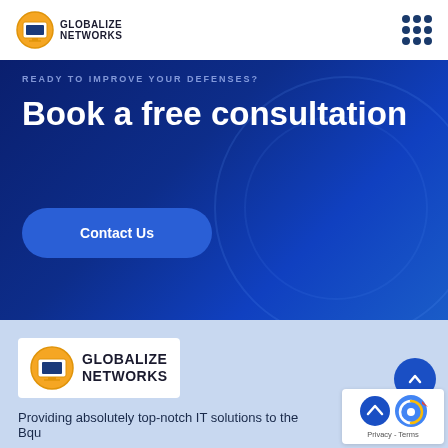[Figure (logo): Globalize Networks logo with orange and blue circular icon and bold text]
[Figure (other): Grid of 9 dark blue dots (3x3) representing hamburger/menu icon]
READY TO IMPROVE YOUR DEFENSES?
Book a free consultation
Contact Us
[Figure (logo): Globalize Networks logo in footer with white background box]
[Figure (other): reCAPTCHA badge with blue shield and reCAPTCHA logo, Privacy - Terms links]
Providing absolutely top-notch IT solutions to the Bqu